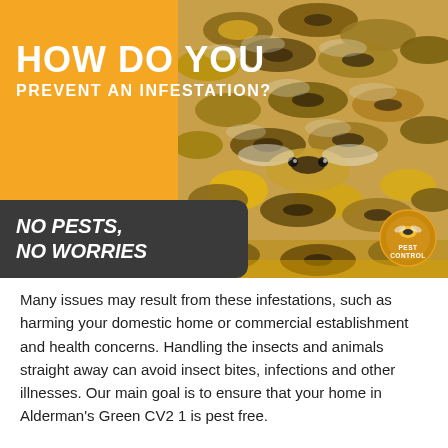[Figure (photo): Close-up photograph of a cluster of honeybees on a honeycomb, showing their striped bodies and wings in detail]
HOW DO YOU PREVENT AN INFESTATION?
NO PESTS, NO WORRIES
Many issues may result from these infestations, such as harming your domestic home or commercial establishment and health concerns. Handling the insects and animals straight away can avoid insect bites, infections and other illnesses. Our main goal is to ensure that your home in Alderman's Green CV2 1 is pest free.
This can take three or more visit over a 2-3 week period depending